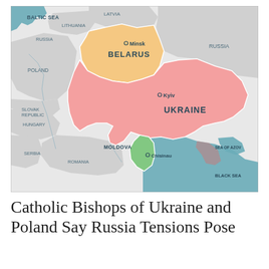[Figure (map): Political map showing Eastern Europe including Belarus (orange), Ukraine (pink/salmon), Moldova (green), surrounding countries (Poland, Latvia, Lithuania, Hungary, Slovak Republic, Romania, Serbia, Russia) in light gray, and bodies of water (Baltic Sea, Sea of Azov, Black Sea) in teal/blue. Capital cities Minsk, Kyiv, and Chisinau are marked.]
Catholic Bishops of Ukraine and Poland Say Russia Tensions Pose